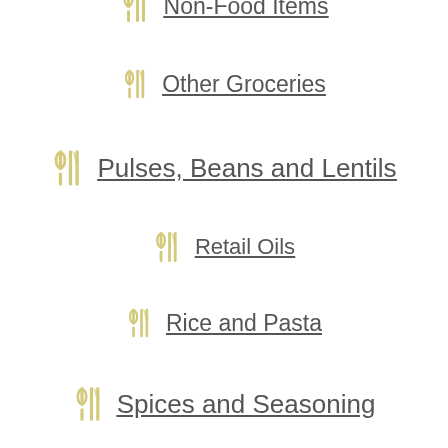Non-Food Items
Other Groceries
Pulses, Beans and Lentils
Retail Oils
Rice and Pasta
Spices and Seasoning
Trade
Foodservice